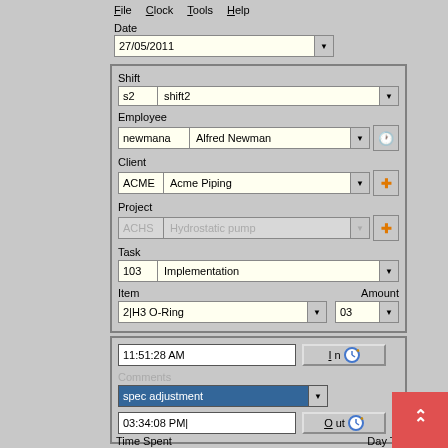[Figure (screenshot): Time clock application UI showing fields: Date (27/05/2011), Shift (s2, shift2), Employee (newmana, Alfred Newman), Client (ACME, Acme Piping), Project (ACHS, Hydrostatic pump), Task (103, Implementation), Item (2|H3 O-Ring), Amount (03), time In (11:51:28 AM), Comments (spec adjustment), time Out (03:34:08 PM), Time Spent and Day Total labels at bottom.]